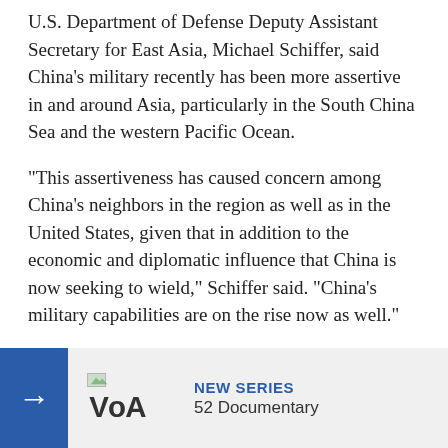U.S. Department of Defense Deputy Assistant Secretary for East Asia, Michael Schiffer, said China's military recently has been more assertive in and around Asia, particularly in the South China Sea and the western Pacific Ocean.
"This assertiveness has caused concern among China's neighbors in the region as well as in the United States, given that in addition to the economic and diplomatic influence that China is now seeking to wield," Schiffer said. "China's military capabilities are on the rise now as well."
Schiffer said the situation requires stronger security reassurances for countries in Asia through multilateral forums such as ASEAN. He added that China should more transparency with intentions.
[Figure (logo): VOA (Voice of America) logo with NEW SERIES and 52 Documentary banner overlay at bottom of page]